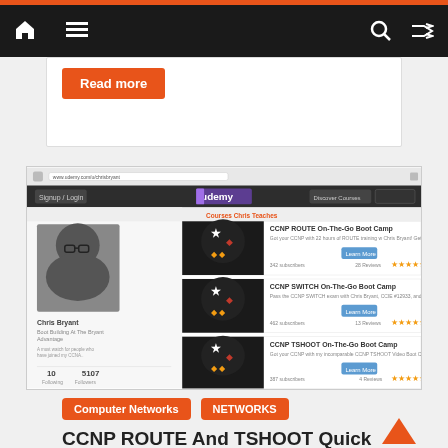Navigation bar with home, menu, search, and shuffle icons
Read more
[Figure (screenshot): Screenshot of Udemy profile page for Chris Bryant showing three courses: CCNP ROUTE On-The-Go Boot Camp, CCNP SWITCH On-The-Go Boot Camp, CCNP TSHOOT On-The-Go Boot Camp, with course images, descriptions, ratings, and Learn More buttons.]
Computer Networks
NETWORKS
CCNP ROUTE And TSHOOT Quick Quiz: OSPF Redistribution Troubles